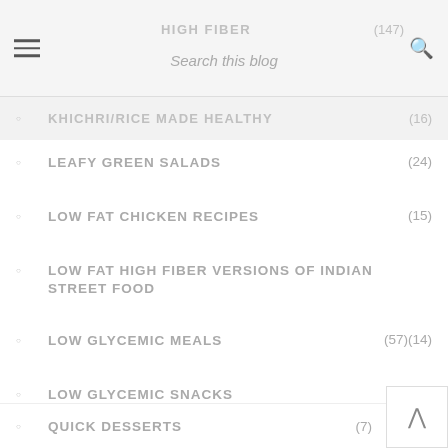HIGH FIBER | Search this blog | (147)
KHICHRI/RICE MADE HEALTHY (16)
LEAFY GREEN SALADS (24)
LOW FAT CHICKEN RECIPES (15)
LOW FAT HIGH FIBER VERSIONS OF INDIAN STREET FOOD
LOW GLYCEMIC MEALS (57)(14)
LOW GLYCEMIC SNACKS (12)
LUNCH BOXES FOR ADULTS (10)
MULTIGRAIN/WHOLEGRAIN (76)
ONE DISH MEALS (41)
PRESSURE COOKER SOUPS (10)
PROBIOTIC FOODS (26)
QUICK DESSERTS (7)